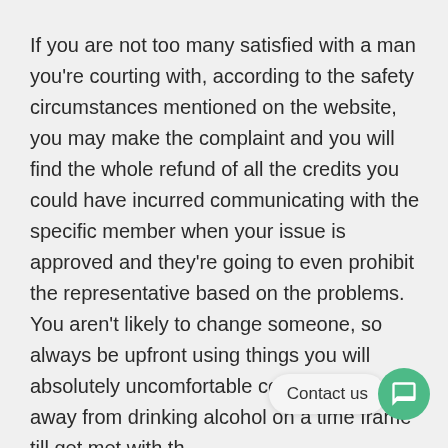If you are not too many satisfied with a man you're courting with, according to the safety circumstances mentioned on the website, you may make the complaint and you will find the whole refund of all the credits you could have incurred communicating with the specific member when your issue is approved and they're going to even prohibit the representative based on the problems. You aren't likely to change someone, so always be upfront using things you will absolutely uncomfortable coping with. Stay away from drinking alcohol on a time frame till get met with the person on repeatedly. If you fail to locate the person that you want to get, consider using only the initial 4